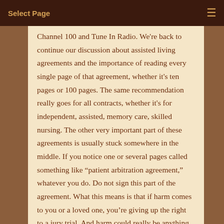Select Page
Channel 100 and Tune In Radio. We're back to continue our discussion about assisted living agreements and the importance of reading every single page of that agreement, whether it's ten pages or 100 pages. The same recommendation really goes for all contracts, whether it's for independent, assisted, memory care, skilled nursing. The other very important part of these agreements is usually stuck somewhere in the middle. If you notice one or several pages called something like “patient arbitration agreement,” whatever you do. Do not sign this part of the agreement. What this means is that if harm comes to you or a loved one, you’re giving up the right to a jury trial. And harm could really be anything from an unexpected medical error. Let’s say a